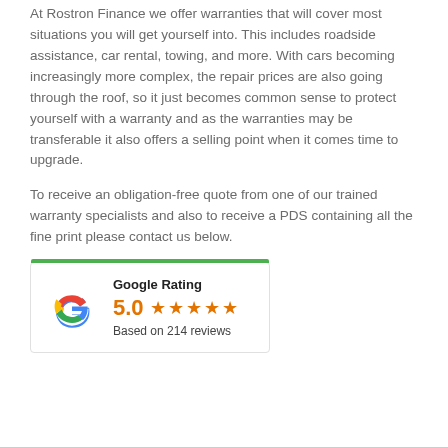At Rostron Finance we offer warranties that will cover most situations you will get yourself into. This includes roadside assistance, car rental, towing, and more. With cars becoming increasingly more complex, the repair prices are also going through the roof, so it just becomes common sense to protect yourself with a warranty and as the warranties may be transferable it also offers a selling point when it comes time to upgrade.
To receive an obligation-free quote from one of our trained warranty specialists and also to receive a PDS containing all the fine print please contact us below.
[Figure (other): Google Rating widget showing 5.0 stars based on 214 reviews, with Google G logo and green top border.]